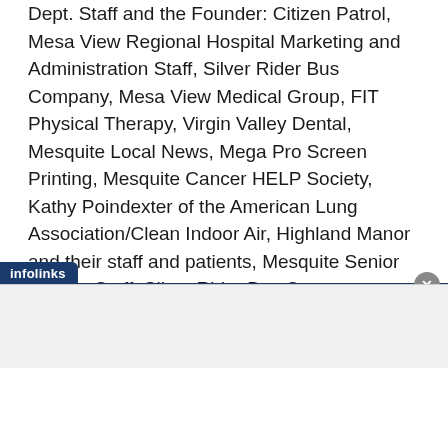Dept. Staff and the Founder: Citizen Patrol, Mesa View Regional Hospital Marketing and Administration Staff, Silver Rider Bus Company, Mesa View Medical Group, FIT Physical Therapy, Virgin Valley Dental, Mesquite Local News, Mega Pro Screen Printing, Mesquite Cancer HELP Society, Kathy Poindexter of the American Lung Association/Clean Indoor Air, Highland Manor and their staff and patients, Mesquite Senior Games Staff, Silver Rider Bus Company, Kokopelli Landscaping, Brenda Cody of TDS Telecommunications, Debbie Dorn of Lincare, Health Care Partners, and Mesquite Dental. With everyone’s support and efforts, it was amazing.
[Figure (screenshot): Infolinks advertisement bar at the bottom of the page with a close button and gray ad area below]